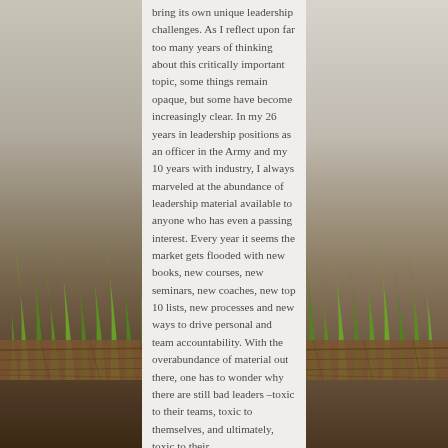[Figure (photo): Background photo of grass growing in front of a concrete/stone wall on both sides, with wooden plank flooring at the bottom. A white/off-white paper or book page panel is in the center.]
bring its own unique leadership challenges. As I reflect upon far too many years of thinking about this critically important topic, some things remain opaque, but some have become increasingly clear. In my 26 years in leadership positions as an officer in the Army and my 10 years with industry, I always marveled at the abundance of leadership material available to anyone who has even a passing interest. Every year it seems the market gets flooded with new books, new courses, new seminars, new coaches, new top 10 lists, new processes and new ways to drive personal and team accountability. With the overabundance of material out there, one has to wonder why there are still bad leaders –toxic to their teams, toxic to themselves, and ultimately, toxic to their organizations.Some of these